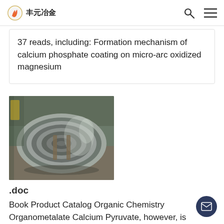丰元冶金
37 reads, including: Formation mechanism of calcium phosphate coating on micro-arc oxidized magnesium
[Figure (photo): A large coil of metallic wire or rod (likely aluminum or magnesium alloy) sitting on a warehouse floor.]
.doc
Book Product Catalog Organic Chemistry Organometalate Calcium Pyruvate, however, is extremely unstable and is easily to be oxidized with